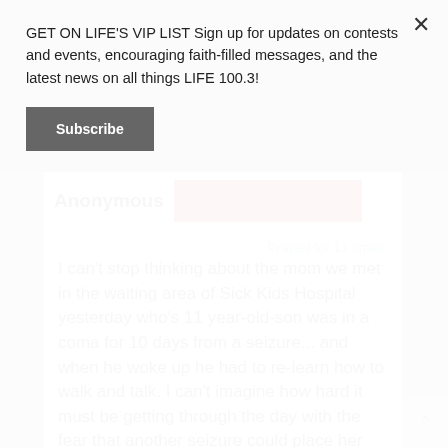GET ON LIFE'S VIP LIST Sign up for updates on contests and events, encouraging faith-filled messages, and the latest news on all things LIFE 100.3!
Subscribe
Anonymous
Prayed for 11 times.
I can't stop thinking about the mom we met in the waiting area of Sick Kids Hospital yesterday who's 11 year-old-son was in a coma for 10 days from a seizure... and when he woke up he had to re-learn how to walk and talk. I can't imagine how hard it must be getting through the day with the fear that another seizure could place her little